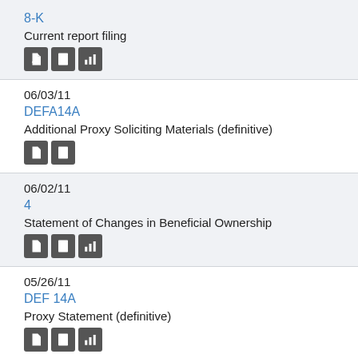8-K
Current report filing
06/03/11
DEFA14A
Additional Proxy Soliciting Materials (definitive)
06/02/11
4
Statement of Changes in Beneficial Ownership
05/26/11
DEF 14A
Proxy Statement (definitive)